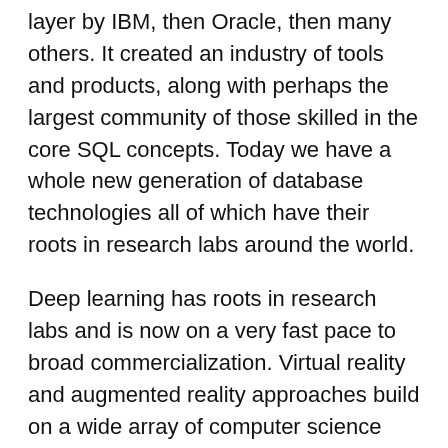layer by IBM, then Oracle, then many others. It created an industry of tools and products, along with perhaps the largest community of those skilled in the core SQL concepts. Today we have a whole new generation of database technologies all of which have their roots in research labs around the world.
Deep learning has roots in research labs and is now on a very fast pace to broad commercialization. Virtual reality and augmented reality approaches build on a wide array of computer science inputs.
All of this is a way of saying that your hallway discussions and debates this year should include computer science. Track the conferences. Read the summaries. Dig into the papers. Even if you've been out of school for a while or never really thought the research world was all that